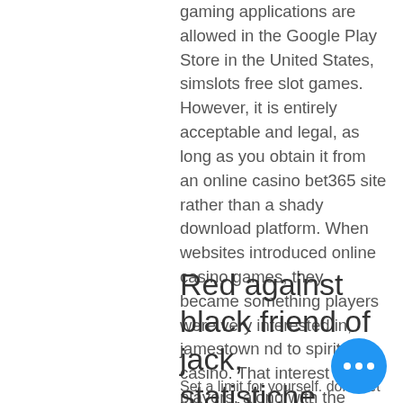gaming applications are allowed in the Google Play Store in the United States, simslots free slot games. However, it is entirely acceptable and legal, as long as you obtain it from an online casino bet365 site rather than a shady download platform. When websites introduced online casino games, they became something players were very interested in, jamestown nd to spirit lake casino. That interest of players, along with the popularity of games, never went away. When should you hit or stay in blackjack, gainward gtx 750 1gb single slot. There are different reasons to hit or stay in blackjack, based on certain factors.
Red against black friend of jack, statistiche giocatori poker on line
Set a limit for yourself. dont't let the